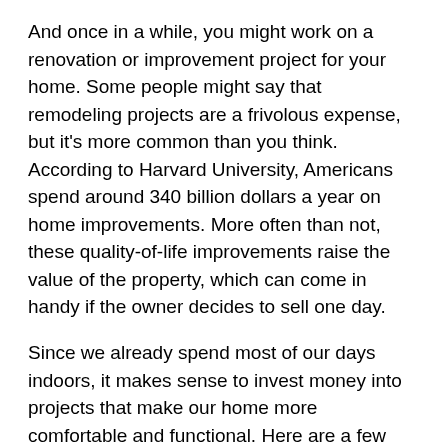And once in a while, you might work on a renovation or improvement project for your home. Some people might say that remodeling projects are a frivolous expense, but it's more common than you think. According to Harvard University, Americans spend around 340 billion dollars a year on home improvements. More often than not, these quality-of-life improvements raise the value of the property, which can come in handy if the owner decides to sell one day.
Since we already spend most of our days indoors, it makes sense to invest money into projects that make our home more comfortable and functional. Here are a few upgrades to your home you might want to consider.
1. Renovate around a theme
Maybe you don't have a specific project in mind but want to give your home a new visual identity. If you're planning on renovating several rooms, make sure to choose a theme to